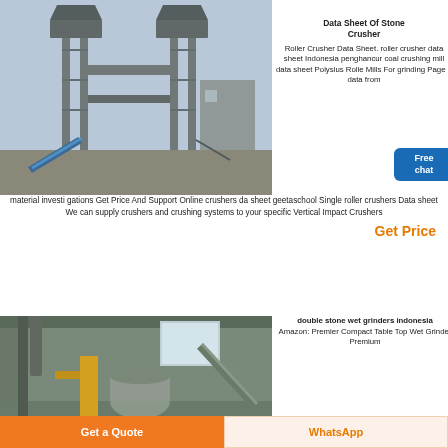[Figure (photo): Industrial roller crusher installation on tall steel frame structure outdoors]
Data Sheet Of Stone Crusher
Roller Crusher Data Sheet. roller crusher data sheet Indonesia penghancur coal crushing mill data sheet Polysius Roller Mills For grinding Page 1 data from material investi gations Get Price And Support Online crushers data sheet geetaschool Single roller crushers Data sheet We can supply crushers and crushing systems to your specific Vertical Impact Crushers
Get Price
[Figure (photo): Interior of industrial grinding mill facility with yellow equipment and conveyor]
double stone wet grinders indonesia
Amazon: Premier Compact Table Top Wet Grinder Premium
Get a Quote | WhatsApp